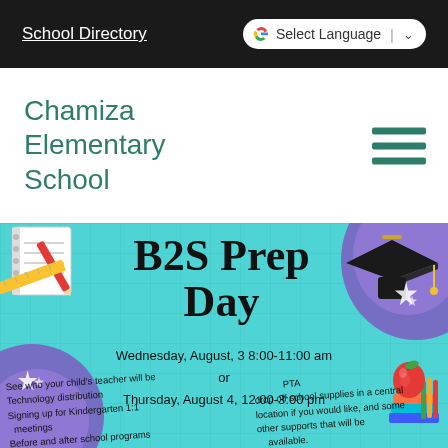School Directory   G Select Language
Chamiza Elementary School
[Figure (infographic): B2S Prep Day flyer on teal/cyan background with purple decorative blobs, school supplies illustrations (notebook, ruler, pencil), graduation cap, apple, and books. Text: 'B2S Prep Day', Wednesday, August, 3 8:00-11:00 am or Thursday, August 4, 12:00-3:00 pm. Bullets: See who your child's teacher will be, Technology distribution, Signing up for Kindergarten 1:1 meetings, Before and after school programs, drop off school supplies in a central location if you would like, and some other supports that will be available, PTA.]